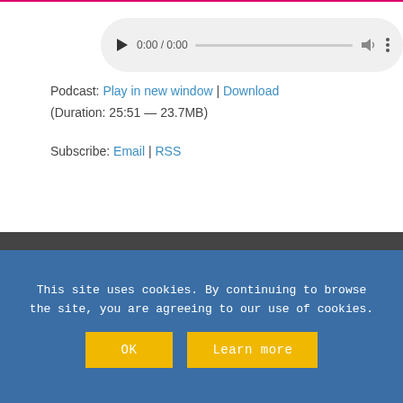[Figure (screenshot): Audio player UI with play button, time display 0:00 / 0:00, progress bar, volume icon, and more options icon on a light grey rounded rectangle background]
Podcast: Play in new window | Download
(Duration: 25:51 — 23.7MB)
Subscribe: Email | RSS
This site uses cookies. By continuing to browse the site, you are agreeing to our use of cookies.
OK    Learn more